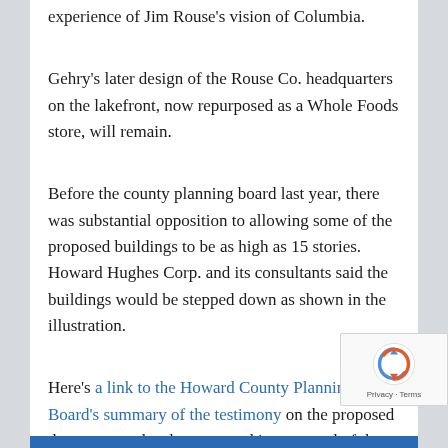experience of Jim Rouse's vision of Columbia.
Gehry's later design of the Rouse Co. headquarters on the lakefront, now repurposed as a Whole Foods store, will remain.
Before the county planning board last year, there was substantial opposition to allowing some of the proposed buildings to be as high as 15 stories. Howard Hughes Corp. and its consultants said the buildings would be stepped down as shown in the illustration.
Here's a link to the Howard County Planning Board's summary of the testimony on the proposed downtown redevelopment and its approval of the plans as submitted.